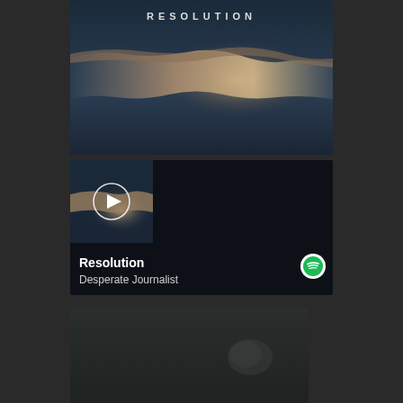[Figure (photo): Album artwork for 'Resolution' by Desperate Journalist showing atmospheric clouds with light rays against a dark blue sky. Text 'RESOLUTION' at top.]
[Figure (screenshot): Spotify music player widget showing 'Resolution' by Desperate Journalist with play button, previous/next track controls, a progress bar, and share icon. Spotify logo visible.]
[Figure (photo): Partial album artwork at the bottom of the page, dark grayish textured surface.]